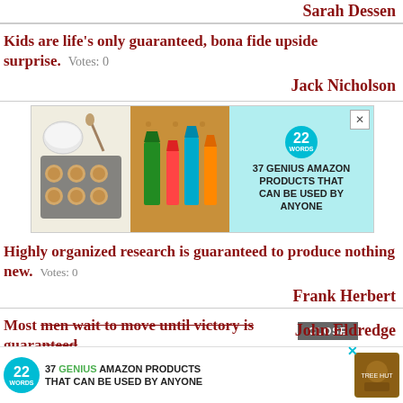Sarah Dessen
Kids are life's only guaranteed, bona fide upside surprise.  Votes: 0
Jack Nicholson
[Figure (advertisement): 22Words ad banner: 37 GENIUS AMAZON PRODUCTS THAT CAN BE USED BY ANYONE, with images of cookies and lipstick products on teal background]
Highly organized research is guaranteed to produce nothing new.  Votes: 0
Frank Herbert
Most men wait to move until victory is guaranteed...
[Figure (advertisement): Bottom bar ad: 37 GENIUS AMAZON PRODUCTS THAT CAN BE USED BY ANYONE with CLOSE button and product image]
John Eldredge